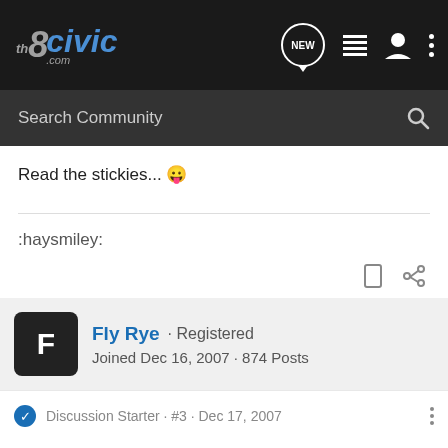8thCivic.com navigation bar with NEW, list, user, and menu icons
Search Community
Read the stickies... 😛
:haysmiley:
Fly Rye · Registered
Joined Dec 16, 2007 · 874 Posts
Discussion Starter · #3 · Dec 17, 2007